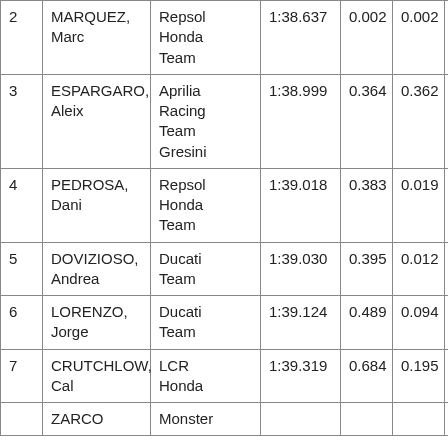| Pos | Rider | Team | Time | Gap1 | Gap2 | Laps |
| --- | --- | --- | --- | --- | --- | --- |
| 2 | MARQUEZ, Marc | Repsol Honda Team | 1:38.637 | 0.002 | 0.002 | 26 / 26 |
| 3 | ESPARGARO, Aleix | Aprilia Racing Team Gresini | 1:38.999 | 0.364 | 0.362 | 12 / 26 |
| 4 | PEDROSA, Dani | Repsol Honda Team | 1:39.018 | 0.383 | 0.019 | 16 / 16 |
| 5 | DOVIZIOSO, Andrea | Ducati Team | 1:39.030 | 0.395 | 0.012 | 27 / 27 |
| 6 | LORENZO, Jorge | Ducati Team | 1:39.124 | 0.489 | 0.094 | 4 / 13 |
| 7 | CRUTCHLOW, Cal | LCR Honda | 1:39.319 | 0.684 | 0.195 | 19 / 23 |
|  | ZARCO | Monster |  |  |  |  |